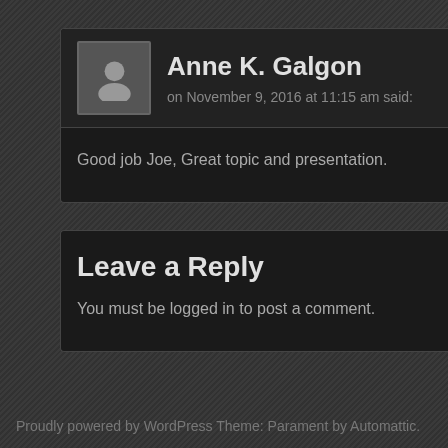Anne K. Galgon on November 9, 2016 at 11:15 am said:
Good job Joe, Great topic and presentation.
Leave a Reply
You must be logged in to post a comment.
Proudly powered by WordPress Theme: Parament by Automattic.